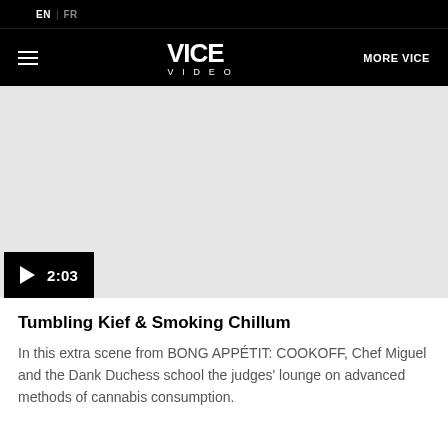EN | FR
VICE VIDEO | MORE VICE
[Figure (screenshot): Video player area showing a light grey placeholder with a black play button bar at the bottom left showing a play icon and timestamp 2:03]
Tumbling Kief & Smoking Chillum
In this extra scene from BONG APPÉTIT: COOKOFF, Chef Miguel and the Dank Duchess school the judges' lounge on advanced methods of cannabis consumption.